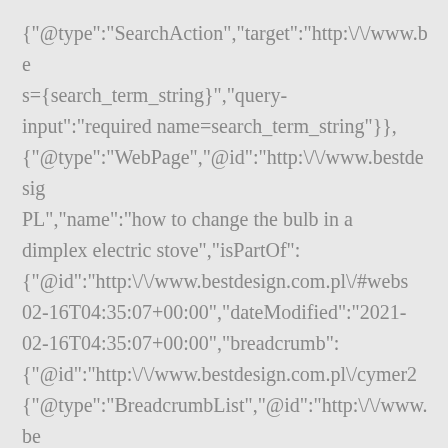{"@type":"SearchAction","target":"http:\/\/www.be s={search_term_string}","query-input":"required name=search_term_string"}}, {"@type":"WebPage","@id":"http:\/\/www.bestdesig PL","name":"how to change the bulb in a dimplex electric stove","isPartOf": {"@id":"http:\/\/www.bestdesign.com.pl\/#webs 02-16T04:35:07+00:00","dateModified":"2021-02-16T04:35:07+00:00","breadcrumb": {"@id":"http:\/\/www.bestdesign.com.pl\/cymer2 {"@type":"BreadcrumbList","@id":"http:\/\/www.be [{"@type":"ListItem","position":1,"item": {"@type":"WebPage","@id":"http:\/\/www.bestdesig g\u0142\u00f3wna"}}, {"@type":"ListItem","position":2,"item":